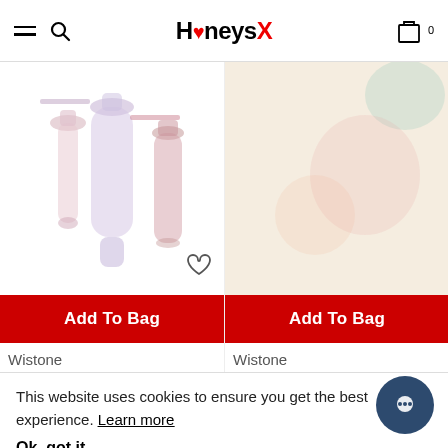HoneysX
[Figure (photo): Left product card showing multiple elongated personal care/wellness product bottles on white background with heart wishlist icon]
[Figure (photo): Right product card showing a product on warm beige/cream background, partially cropped, with expand and scroll-up icons on overlay panel]
Add To Bag
Add To Bag
Wistone
Wistone
This website uses cookies to ensure you get the best experience. Learn more
Ok, got it